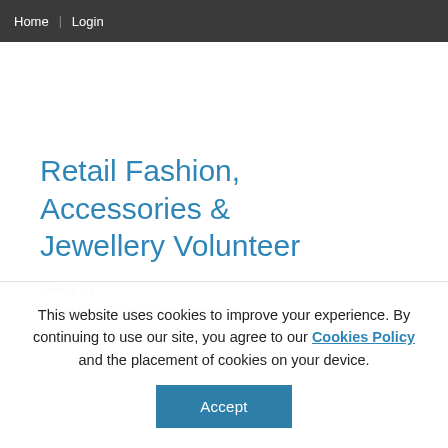Home Login
Retail Fashion, Accessories & Jewellery Volunteer
Slough |
Employer: Sue Ryder Volunteer
This website uses cookies to improve your experience. By continuing to use our site, you agree to our Cookies Policy and the placement of cookies on your device.
Accept